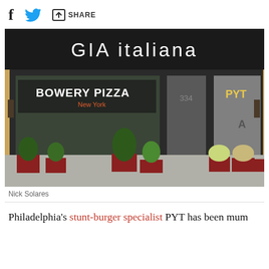f  [twitter bird icon]  [share icon] SHARE
[Figure (photo): Storefront showing 'GIA italiana' signage above, with 'BOWERY PIZZA New York' and 'PYT' logos visible in the windows. Red planters with small evergreen trees and flowers on the sidewalk in front.]
Nick Solares
Philadelphia's stunt-burger specialist PYT has been mum